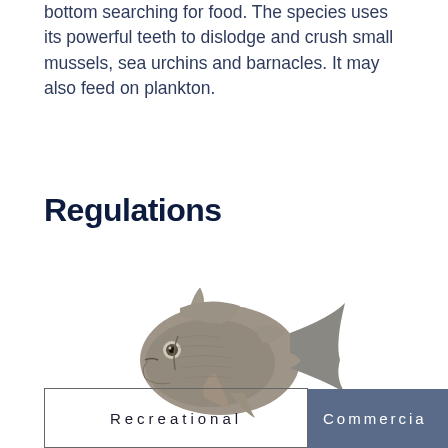bottom searching for food. The species uses its powerful teeth to dislodge and crush small mussels, sea urchins and barnacles. It may also feed on plankton.
Regulations
[Figure (illustration): Illustration of a triggerfish (grey/brown coloring) shown in profile facing left]
| Recreational | Commercial |
| --- | --- |